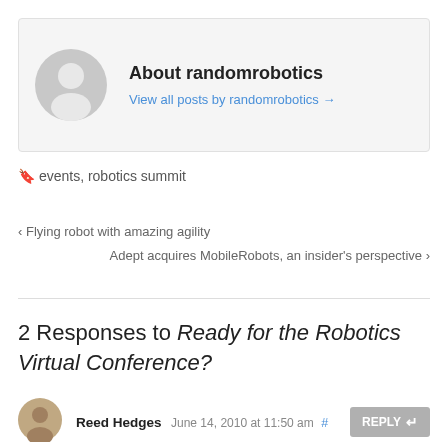[Figure (illustration): Gray avatar/profile placeholder icon (silhouette of a person) on a light gray background, inside an about-author box]
About randomrobotics
View all posts by randomrobotics →
🏷 events, robotics summit
‹ Flying robot with amazing agility
Adept acquires MobileRobots, an insider's perspective ›
2 Responses to Ready for the Robotics Virtual Conference?
[Figure (photo): Small circular photo of commenter Reed Hedges]
Reed Hedges June 14, 2010 at 11:50 am # REPLY